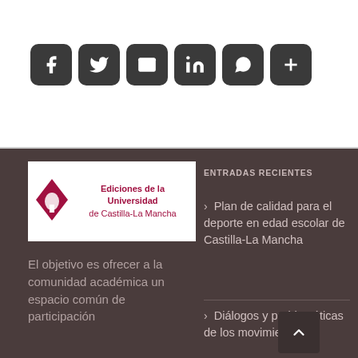[Figure (infographic): Social sharing icons: Facebook, Twitter, Email, LinkedIn, WhatsApp, Share/More — dark rounded square buttons]
[Figure (logo): Ediciones de la Universidad de Castilla-La Mancha logo — red diamond shape with text]
El objetivo es ofrecer a la comunidad académica un espacio común de participación
ENTRADAS RECIENTES
Plan de calidad para el deporte en edad escolar de Castilla-La Mancha
Diálogos y problemáticas de los movimientos